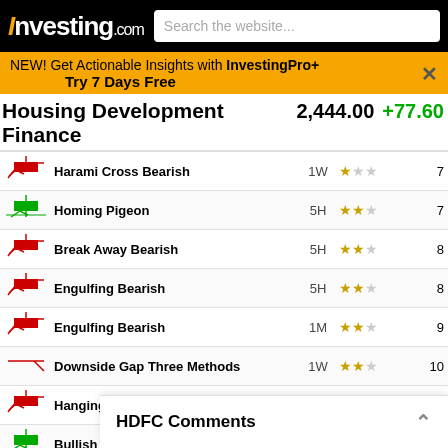Investing.com | Search the website...
NEW! Get Actionable Insights with InvestingPro+ Try 7 Days Free
Housing Development Finance  2,444.00  +77.60
| Icon | Pattern | Timeframe | Reliability | Candles Ago |
| --- | --- | --- | --- | --- |
| bearish | Harami Cross Bearish | 1W | ★☆☆ | 7 |
| bullish | Homing Pigeon | 5H | ★★☆ | 7 |
| bearish | Break Away Bearish | 5H | ★★☆ | 8 |
| bearish | Engulfing Bearish | 5H | ★★☆ | 8 |
| bearish | Engulfing Bearish | 1M | ★★☆ | 9 |
| bearish | Downside Gap Three Methods | 1W | ★★☆ | 10 |
| bearish | Hanging Man | 1D | ★☆☆ | 13 |
| bullish | Bullish Engulfing | 1H | ★★☆ | 13 |
| bullish | Inverted Hammer | 5H | ★☆☆ | 14 |
| bullish | Belt Hold Bullish | 5H | ★☆☆ | 14 |
| bullish | Bullish Engulfing | 1M | ★★☆ | 15 |
| bearish | Doji Star Bearish | 15 | ★★☆ | 18 |
| bearish | Falling Three Methods | 1W | ★★★ | 19 |
| bearish | Three Bla... | 1W | ★★★ | ? |
HDFC Comments